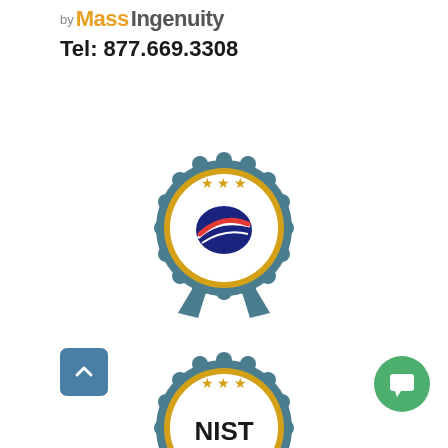by MassIngenuity
Tel: 877.669.3308
[Figure (logo): Award/certification badge with teal ribbon and gold ring, featuring a blue/red swoosh logo (resembling a US digital services or government seal) in the center circle, three gold stars at top]
[Figure (logo): Award/certification badge with teal ribbon and gold ring, featuring NIST logo text in black in the center circle, three gold stars at top]
[Figure (logo): Award/certification badge (partially cropped at bottom) with teal ribbon and gold ring, three gold stars at top, partially visible logo in center]